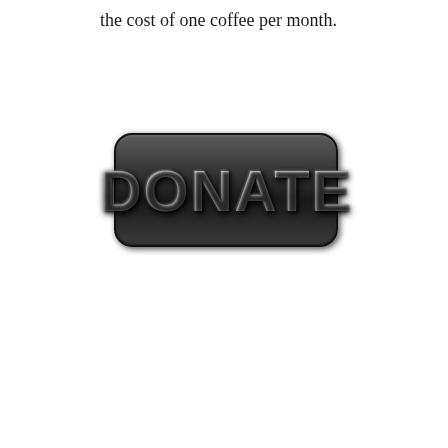the cost of one coffee per month.
[Figure (illustration): A dark rounded-rectangle button with embossed text reading DONATE in large bold gray/white letters with a metallic 3D effect]